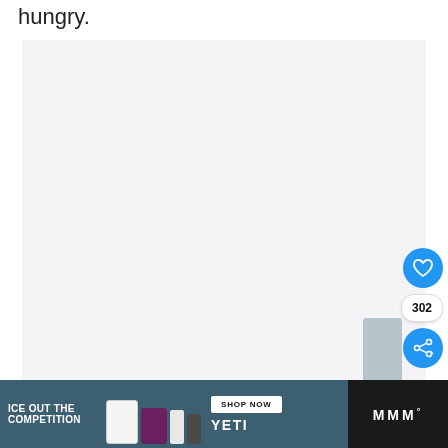hungry.
[Figure (photo): Large light gray placeholder image area with a like button (heart icon, blue circle), a count badge showing 302, and a share button (blue circle with share icon) on the right side. A partial gray image is visible bottom-right.]
[Figure (infographic): Advertisement banner for YETI: dark background with teal/blue section showing text 'ICE OUT THE COMPETITION', product images (cooler, tote bag, cup, dark cup), a white 'SHOP NOW' button, YETI logo text, and a site logo on the right showing 'WWW' dots with degree symbol.]